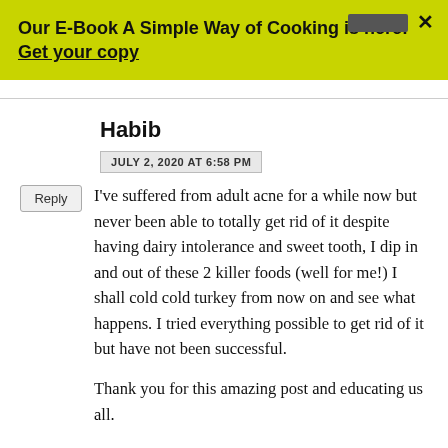Our E-Book A Simple Way of Cooking is here! Get your copy
Habib
JULY 2, 2020 AT 6:58 PM
I've suffered from adult acne for a while now but never been able to totally get rid of it despite having dairy intolerance and sweet tooth, I dip in and out of these 2 killer foods (well for me!) I shall cold cold turkey from now on and see what happens. I tried everything possible to get rid of it but have not been successful.

Thank you for this amazing post and educating us all.